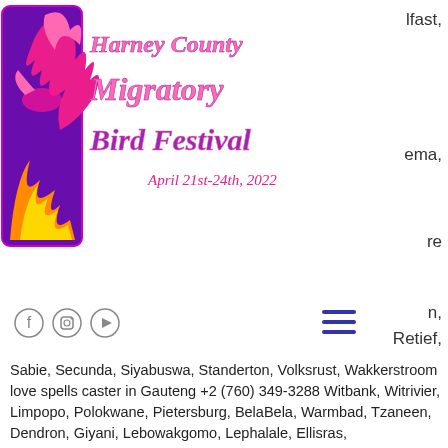[Figure (logo): Harney County Migratory Bird Festival logo with colorful bird and flame illustration. Text reads: Harney County Migratory Bird Festival, April 21st-24th, 2022]
lfast,
ema,
re
[Figure (other): Social media icons: Facebook, Instagram, YouTube]
[Figure (other): Hamburger menu icon (three horizontal lines)]
n, Retief,
Sabie, Secunda, Siyabuswa, Standerton, Volksrust, Wakkerstroom love spells caster in Gauteng +2 (760) 349-3288 Witbank, Witrivier, Limpopo, Polokwane, Pietersburg, BelaBela, Warmbad, Tzaneen, Dendron, Giyani, Lebowakgomo, Lephalale, Ellisras, LouisTrichardt, Lulekani to bring back my lost lover Powerful love spells caster Sangoma for all +2 (760) 349-3288 Gauteng, Mpumalanga, Limpopo, Free State, Eastern Cape, KwaZulu Natal, Northern Cape, North West, Western Cape to bring back my lost lover